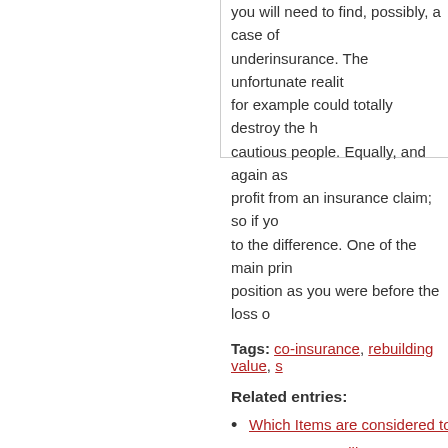you will need to find, possibly, a case of underinsurance. The unfortunate reality is that fire for example could totally destroy the home of cautious people. Equally, and again as noted, no profit from an insurance claim; so if yo... to the difference. One of the main princ... position as you were before the loss o...
Tags: co-insurance, rebuilding value, s...
Related entries:
Which Items are considered to be...
I Rent, can I Still Get Home Insura...
What shall I do if my house is mor...
Why is Home Insurance necessary...
How much should I insure my buil...